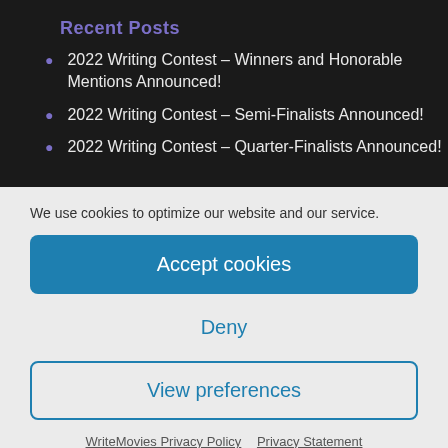Recent Posts
2022 Writing Contest – Winners and Honorable Mentions Announced!
2022 Writing Contest – Semi-Finalists Announced!
2022 Writing Contest – Quarter-Finalists Announced!
We use cookies to optimize our website and our service.
Accept cookies
Deny
View preferences
WriteMovies Privacy Policy   Privacy Statement